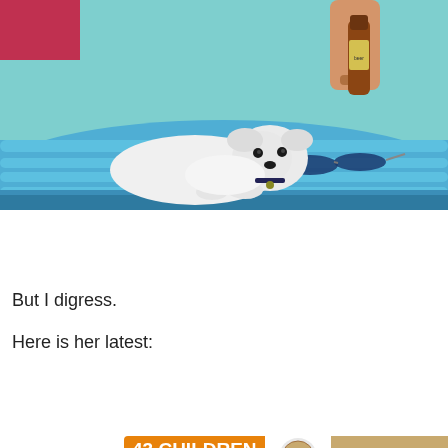[Figure (photo): A small white fluffy dog (Maltese) lying on a blue inflatable pool float. A person's arm extends from top right holding a beer bottle. Sunglasses are placed on the float next to the dog. Background is light blue/teal.]
[Figure (other): Advertisement banner: '43 CHILDREN A Day Are Diagnosed With Cancer in the U.S.' with Cookies for kids' cancer logo and 'Let's Get Baking' text on tan background with arrow.]
But I digress.
Here is her latest:
[Figure (screenshot): Bottom advertisement banner same as above: '43 CHILDREN A Day Are Diagnosed With Cancer in the U.S.' with Cookies for kids' cancer logo and 'Let's Get Baking' with X close button and speaker icon.]